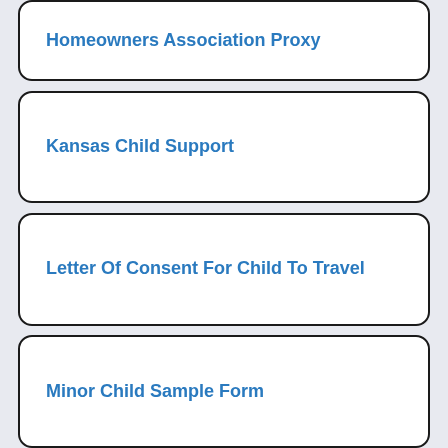Homeowners Association Proxy
Kansas Child Support
Letter Of Consent For Child To Travel
Minor Child Sample Form